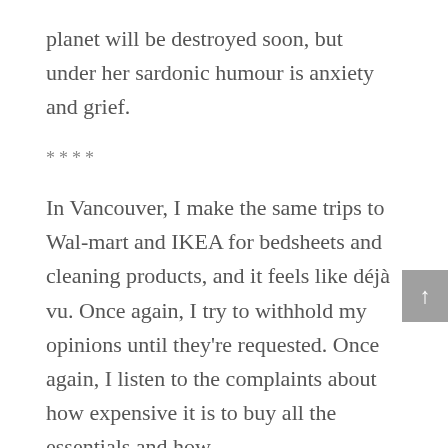planet will be destroyed soon, but under her sardonic humour is anxiety and grief.
****
In Vancouver, I make the same trips to Wal-mart and IKEA for bedsheets and cleaning products, and it feels like déjà vu. Once again, I try to withhold my opinions until they're requested. Once again, I listen to the complaints about how expensive it is to buy all the essentials and how